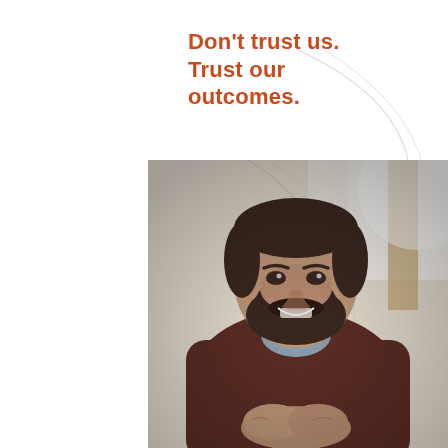Don't trust us. Trust our outcomes.
[Figure (photo): A bearded man wearing a dark maroon sweater over a light blue collar shirt, sitting with his hands clasped together, looking upward and smiling. The background shows a bright interior space.]